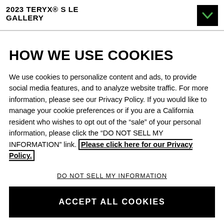2023 TERYX® S LE
GALLERY
HOW WE USE COOKIES
We use cookies to personalize content and ads, to provide social media features, and to analyze website traffic. For more information, please see our Privacy Policy. If you would like to manage your cookie preferences or if you are a California resident who wishes to opt out of the "sale" of your personal information, please click the "DO NOT SELL MY INFORMATION" link. Please click here for our Privacy Policy.
DO NOT SELL MY INFORMATION
ACCEPT ALL COOKIES